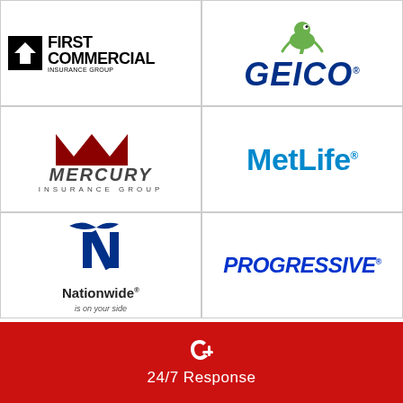[Figure (logo): First Commercial Insurance Group logo — black square with white '1' arrow mark, text 'FIRST COMMERCIAL INSURANCE GROUP']
[Figure (logo): GEICO logo — green gecko mascot above bold italic blue GEICO text with registered mark]
[Figure (logo): Mercury Insurance Group logo — red stylized M peaks above text 'MERCURY INSURANCE GROUP']
[Figure (logo): MetLife logo — bold blue 'MetLife' text with registered mark]
[Figure (logo): Nationwide Insurance logo — blue eagle/N mark above 'Nationwide is on your side' text]
[Figure (logo): Progressive logo — bold italic blue 'PROGRESSIVE' text with registered mark]
24/7 Response